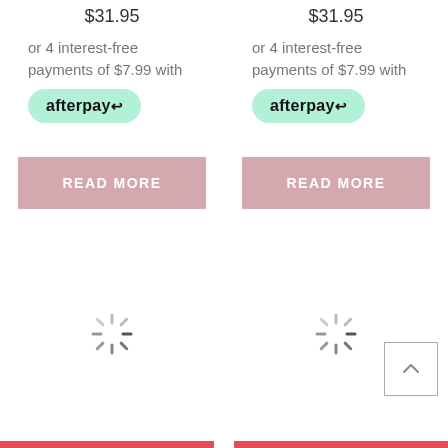$31.95
or 4 interest-free payments of $7.99 with
[Figure (logo): Afterpay logo badge - green pill shape with 'afterpay' text and loop icon]
READ MORE
$31.95
or 4 interest-free payments of $7.99 with
[Figure (logo): Afterpay logo badge - green pill shape with 'afterpay' text and loop icon]
READ MORE
[Figure (other): Loading spinner icon (grey radial lines)]
[Figure (other): Loading spinner icon (grey radial lines)]